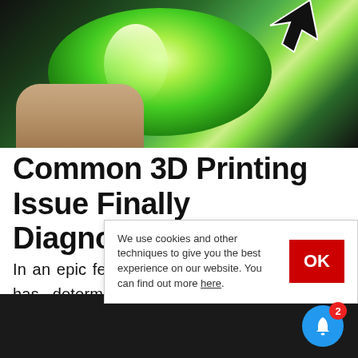[Figure (photo): Close-up photo of green 3D printing filament being held by fingers, with bright green/yellow luminescent glow. A cursor arrow icon is visible in the upper right.]
Common 3D Printing Issue Finally Diagnosed
In an epic feat of diagnosis, Stefan Hermann has determined what can cause a very common 3D printi
We use cookies and other techniques to give you the best experience on our website. You can find out more here.